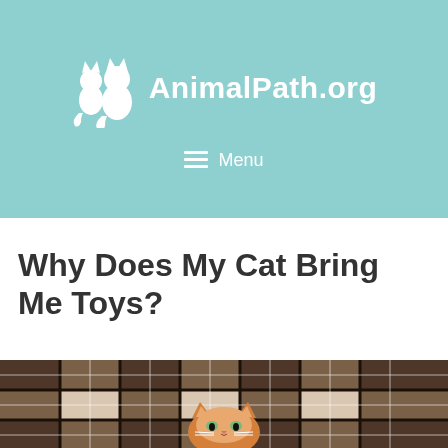AnimalPath.org
≡ Menu
Why Does My Cat Bring Me Toys?
[Figure (photo): Orange kitten peeking out from under brown and white plaid fabric/blanket]